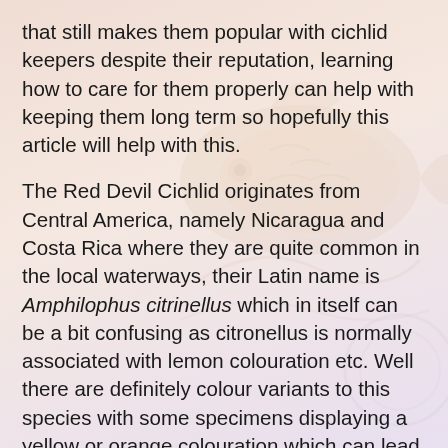that still makes them popular with cichlid keepers despite their reputation, learning how to care for them properly can help with keeping them long term so hopefully this article will help with this.
The Red Devil Cichlid originates from Central America, namely Nicaragua and Costa Rica where they are quite common in the local waterways, their Latin name is Amphilophus citrinellus which in itself can be a bit confusing as citronellus is normally associated with lemon colouration etc. Well there are definitely colour variants to this species with some specimens displaying a yellow or orange colouration which can lead to them being given other common names such as the lemon Cichlid or the Midas Cichlid dependant on the locality that they are found in.
Like most of the Central American cichlids, they do possess a laterally compressed body shape and can